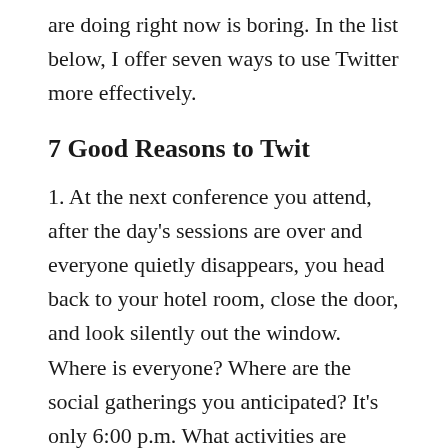are doing right now is boring. In the list below, I offer seven ways to use Twitter more effectively.
7 Good Reasons to Twit
1. At the next conference you attend, after the day's sessions are over and everyone quietly disappears, you head back to your hotel room, close the door, and look silently out the window. Where is everyone? Where are the social gatherings you anticipated? It's only 6:00 p.m. What activities are going on? But then your cell phone buzzes, you look on the